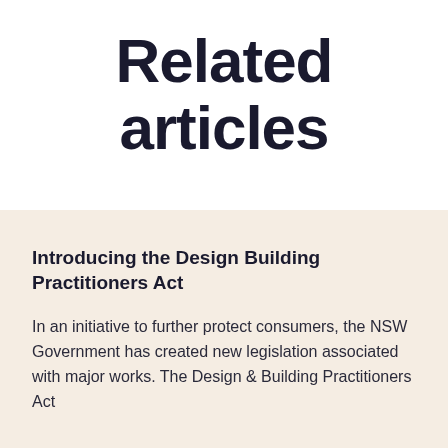Related articles
Introducing the Design Building Practitioners Act
In an initiative to further protect consumers, the NSW Government has created new legislation associated with major works. The Design & Building Practitioners Act